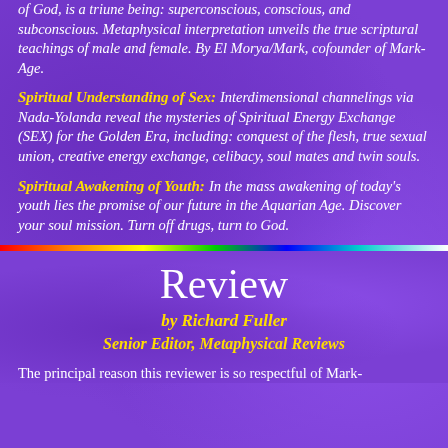of God, is a triune being: superconscious, conscious, and subconscious. Metaphysical interpretation unveils the true scriptural teachings of male and female. By El Morya/Mark, cofounder of Mark-Age.
Spiritual Understanding of Sex: Interdimensional channelings via Nada-Yolanda reveal the mysteries of Spiritual Energy Exchange (SEX) for the Golden Era, including: conquest of the flesh, true sexual union, creative energy exchange, celibacy, soul mates and twin souls.
Spiritual Awakening of Youth: In the mass awakening of today's youth lies the promise of our future in the Aquarian Age. Discover your soul mission. Turn off drugs, turn to God.
[Figure (other): Horizontal rainbow spectrum bar dividing page sections, running from red on left through orange, yellow, green, blue, cyan to white/light on right]
Review
by Richard Fuller
Senior Editor, Metaphysical Reviews
The principal reason this reviewer is so respectful of Mark-